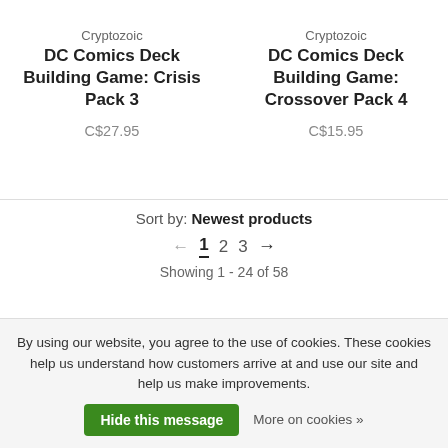Cryptozoic DC Comics Deck Building Game: Crisis Pack 3 C$27.95
Cryptozoic DC Comics Deck Building Game: Crossover Pack 4 C$15.95
Sort by: Newest products
1 2 3
Showing 1 - 24 of 58
By using our website, you agree to the use of cookies. These cookies help us understand how customers arrive at and use our site and help us make improvements. Hide this message More on cookies »